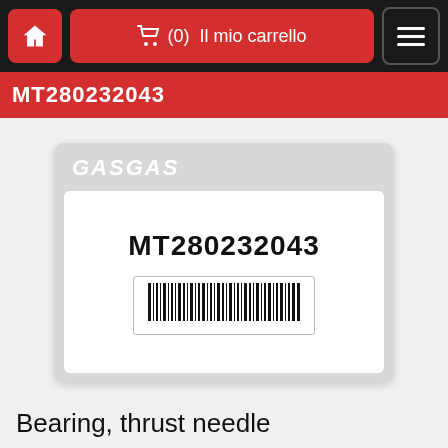Il mio carrello (0) — navigation bar with home, cart, menu
MT280232043
[Figure (photo): GASGAS branded product label card showing part number MT280232043 and a barcode on white background within a light grey card.]
Bearing, thrust needle